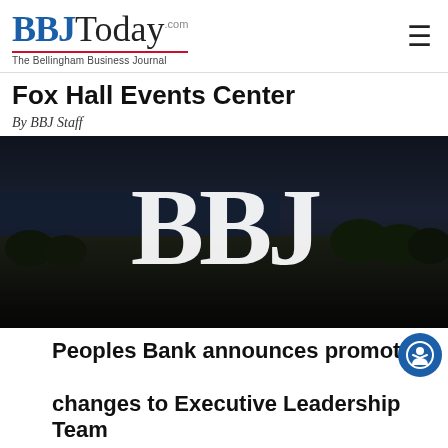BBJToday.com — The Bellingham Business Journal
Fox Hall Events Center
By BBJ Staff
[Figure (photo): Aerial/panoramic view of Bellingham with water visible in the background, dark overlay, with large white BBJ initials watermarked in the center]
Peoples Bank announces promotion changes to Executive Leadership Team